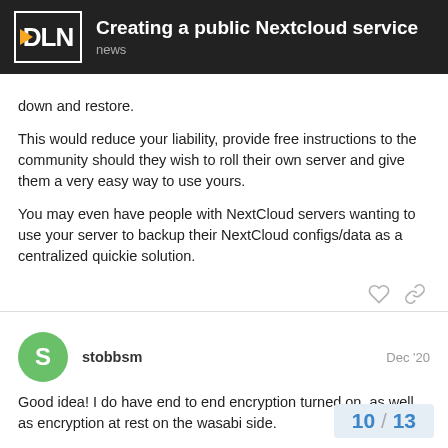Creating a public Nextcloud service — news
down and restore.
This would reduce your liability, provide free instructions to the community should they wish to roll their own server and give them a very easy way to use yours.
You may even have people with NextCloud servers wanting to use your server to backup their NextCloud configs/data as a centralized quickie solution.
stobbsm  Dec '20
Good idea! I do have end to end encryption turned on, as well as encryption at rest on the wasabi side.
I like it! I'll look at a way to do that.
10 / 13